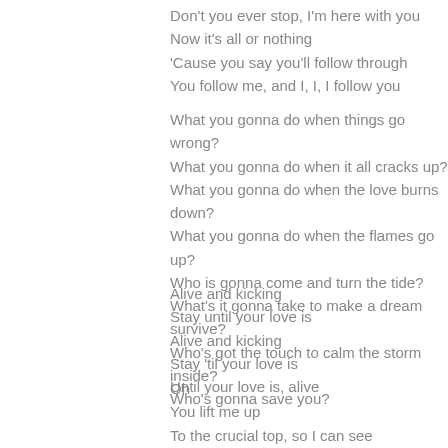Don't you ever stop, I'm here with you
Now it's all or nothing
'Cause you say you'll follow through
You follow me, and I, I, I follow you
What you gonna do when things go wrong?
What you gonna do when it all cracks up?
What you gonna do when the love burns down?
What you gonna do when the flames go up?
Who is gonna come and turn the tide?
What's it gonna take to make a dream survive?
Who's got the touch to calm the storm inside?
Who's gonna save you?
Alive and kicking
Stay until your love is
Alive and kicking
Stay 'til your love is
Until your love is, alive
Oh
You lift me up
To the crucial top, so I can see
Oh you lead me on